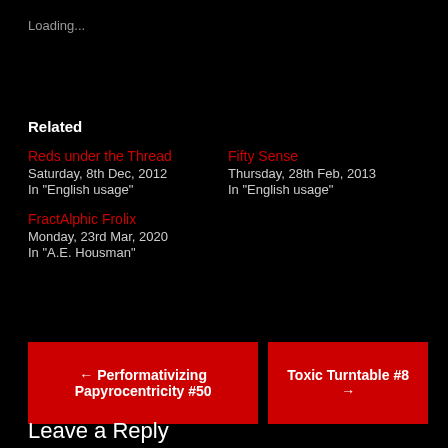Loading...
Related
Reds under the Thread
Saturday, 8th Dec, 2012
In "English usage"
Fifty Sense
Thursday, 28th Feb, 2013
In "English usage"
FractAlphic Frolix
Monday, 23rd Mar, 2020
In "A.E. Housman"
← Performativizing Papyrocentricity #50
Toxic Turntable #8 →
Leave a Reply